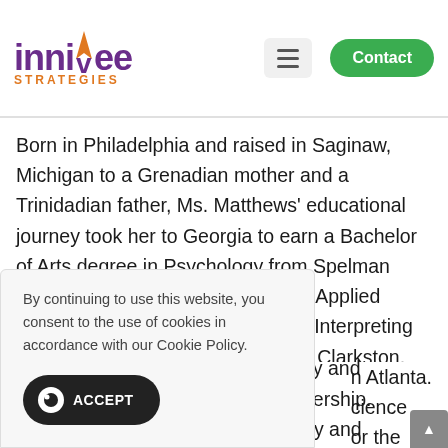[Figure (logo): Innivee Strategies logo with purple text and orange flame accent]
Born in Philadelphia and raised in Saginaw, Michigan to a Grenadian mother and a Trinidadian father, Ms. Matthews' educational journey took her to Georgia to earn a Bachelor of Arts degree in Psychology from Spelman College in Atlanta, an Associate of Applied Science degree in Sign Language Interpreting from Georgia Perimeter College in Clarkston, and a Master of Arts degree in Middle Grade
By continuing to use this website, you consent to the use of cookies in accordance with our Cookie Policy.
ACCEPT
n Atlanta. cience or the
ersity and leadership. eracy and